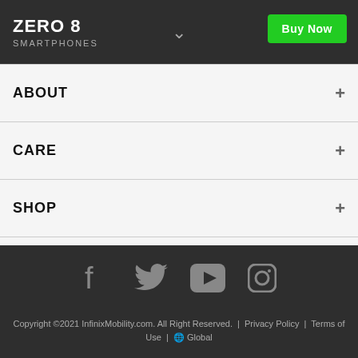ZERO 8 SMARTPHONES — Buy Now
ABOUT +
CARE +
SHOP +
XCLUB +
[Figure (infographic): Social media icons: Facebook, Twitter, YouTube, Instagram]
Copyright ©2021 InfinixMobility.com. All Right Reserved. | Privacy Policy | Terms of Use | 🌍 Global